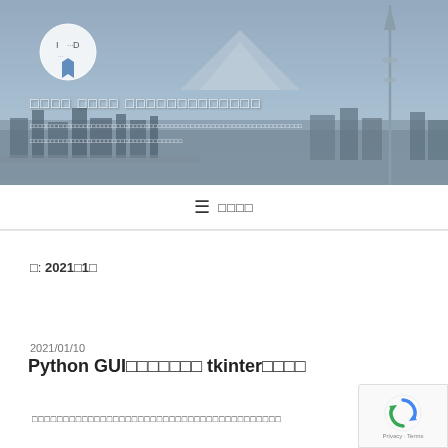[Figure (photo): Website header banner with Tokyo cityscape background including Tokyo Skytree tower and Mt. Fuji, with a logo overlay. Hazy blue-gray atmosphere.]
□□□□ □□□□ □□□□□□□□□□□□□
□□□□□□□□□□□□□□□□□□□□□□□□□□□□□□□□□□□□□□□□□□□□□□□□□□□□□□□□□□□□□□□□□□□□□□□□
≡ □□□□
□: 2021□1□
2021/01/10
Python GUI□□□□□□□ tkinter□□□□
□□□□□□□□□□□□□□□□□□□□□□□□□□□□□□□□□□□□□□